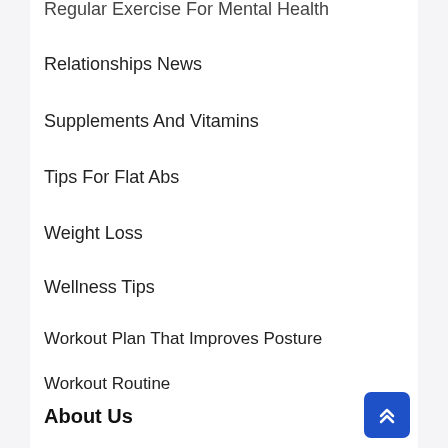Regular Exercise For Mental Health
Relationships News
Supplements And Vitamins
Tips For Flat Abs
Weight Loss
Wellness Tips
Workout Plan That Improves Posture
Workout Routine
Workout Tips
About Us